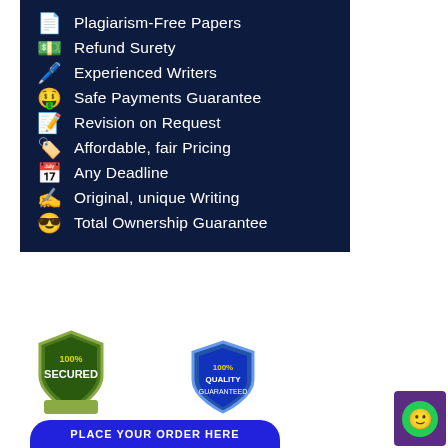📄 Plagiarism-Free Papers
💵 Refund Surety
🖊️ Experienced Writers
🤑 Safe Payments Guarantee
📝 Revision on Request
🏷️ Affordable, fair Pricing
📅 Any Deadline
✍️ Original, unique Writing
😎 Total Ownership Guarantee
[Figure (infographic): Bottom section with 100% Secured badge, 100% Quality Guaranteed badge, Place Your Order Here button in blue, and a chat widget with green circle on purple background]